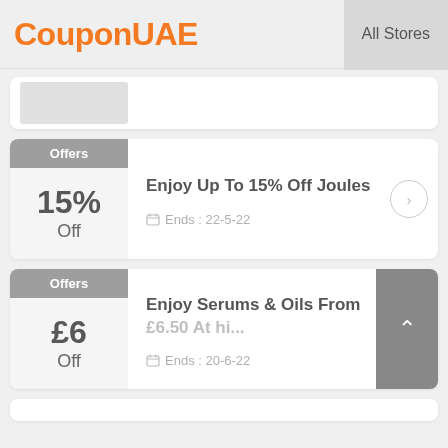CouponUAE  All Stores
[Figure (screenshot): Partial coupon card stub visible at top]
Offers
15%
Off
Enjoy Up To 15% Off Joules
Ends: 22-5-22
Offers
£6
Off
Enjoy Serums & Oils From £6.50 At hi...
Ends: 20-6-22
[Figure (screenshot): Partial coupon card stub at bottom]